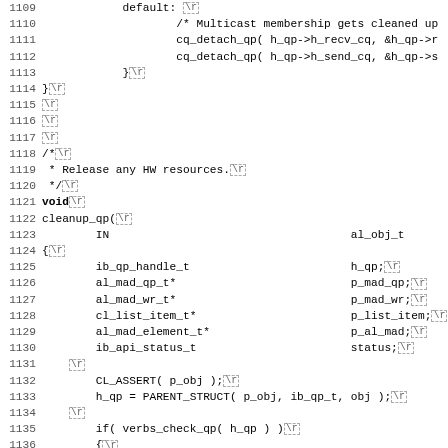[Figure (screenshot): Source code listing lines 1109-1141, showing C code for cleanup_qp function with line numbers and carriage return markers]